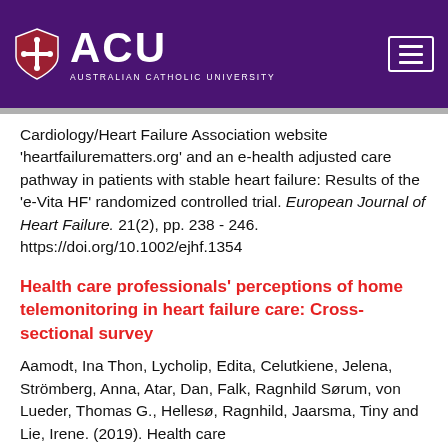[Figure (logo): Australian Catholic University (ACU) logo with shield and text on purple header bar]
Cardiology/Heart Failure Association website 'heartfailurematters.org' and an e-health adjusted care pathway in patients with stable heart failure: Results of the 'e-Vita HF' randomized controlled trial. European Journal of Heart Failure. 21(2), pp. 238 - 246. https://doi.org/10.1002/ejhf.1354
Health care professionals' perceptions of home telemonitoring in heart failure care: Cross-sectional survey
Aamodt, Ina Thon, Lycholip, Edita, Celutkiene, Jelena, Strömberg, Anna, Atar, Dan, Falk, Ragnhild Sørum, von Lueder, Thomas G., Hellesø, Ragnhild, Jaarsma, Tiny and Lie, Irene. (2019). Health care professionals' perceptions of home telemonitoring in